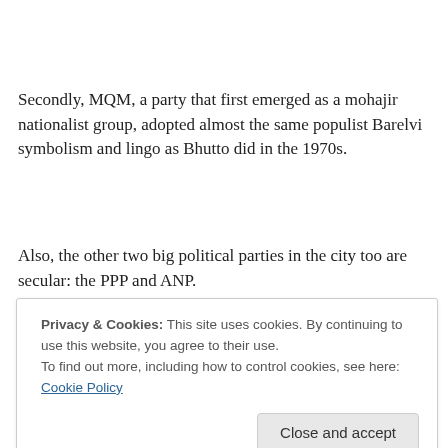Secondly, MQM, a party that first emerged as a mohajir nationalist group, adopted almost the same populist Barelvi symbolism and lingo as Bhutto did in the 1970s.
Also, the other two big political parties in the city too are secular: the PPP and ANP.
Though the Sunni Thereek (ST) has managed to infiltrate
[Figure (screenshot): Cookie consent overlay with text: 'Privacy & Cookies: This site uses cookies. By continuing to use this website, you agree to their use. To find out more, including how to control cookies, see here: Cookie Policy' and a 'Close and accept' button.]
claim that Karachi along with the rest of Sindh today